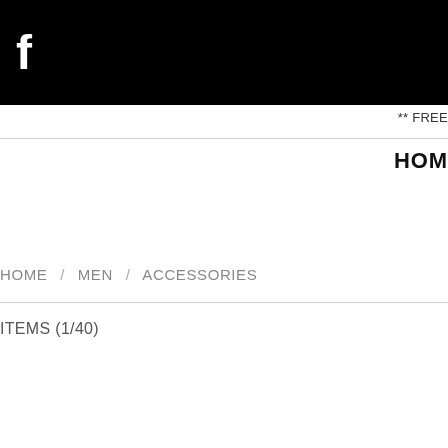[Figure (logo): Black header bar with Facebook 'f' logo in white on the left side]
** FREE
HOM
HOME / MEN / ACCESSORIES
ITEMS (1/40)